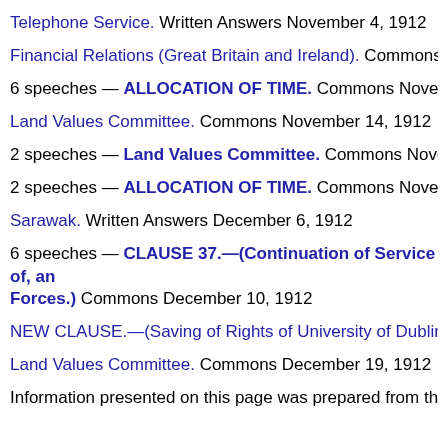Telephone Service. Written Answers November 4, 1912
Financial Relations (Great Britain and Ireland). Commons Nov…
6 speeches — ALLOCATION OF TIME. Commons November…
Land Values Committee. Commons November 14, 1912
2 speeches — Land Values Committee. Commons Novembe…
2 speeches — ALLOCATION OF TIME. Commons November…
Sarawak. Written Answers December 6, 1912
6 speeches — CLAUSE 37.—(Continuation of Service of, and… Forces.) Commons December 10, 1912
NEW CLAUSE.—(Saving of Rights of University of Dublin.) Co…
Land Values Committee. Commons December 19, 1912
Information presented on this page was prepared from the XM…